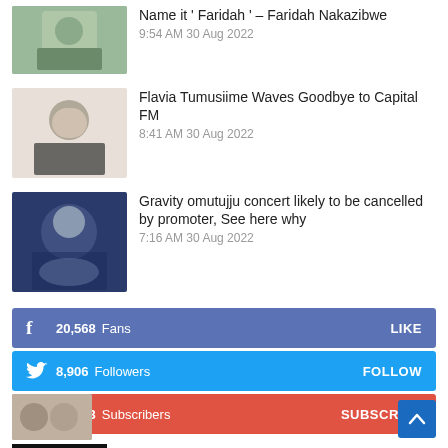Name it ' Faridah ' – Faridah Nakazibwe
9:54 AM 30 Aug 2022
Flavia Tumusiime Waves Goodbye to Capital FM
8:41 AM 30 Aug 2022
Gravity omutujju concert likely to be cancelled by promoter, See here why
7:16 AM 30 Aug 2022
20,568  Fans   LIKE
8,906  Followers   FOLLOW
10,203  Subscribers   SUBSCRIBE
TRENDING